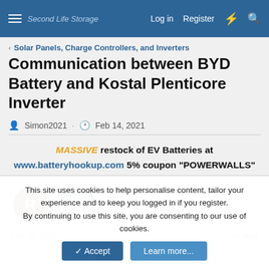Second Life Storage  Log in  Register
< Solar Panels, Charge Controllers, and Inverters
Communication between BYD Battery and Kostal Plenticore Inverter
Simon2021 · Feb 14, 2021
MASSIVE restock of EV Batteries at www.batteryhookup.com 5% coupon "POWERWALLS"
rkoeppl
New member
Mar 10, 2022  #81
This site uses cookies to help personalise content, tailor your experience and to keep you logged in if you register.
By continuing to use this site, you are consenting to our use of cookies.